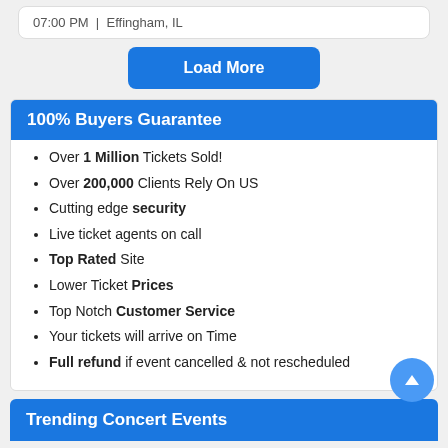07:00 PM  |  Effingham, IL
Load More
100% Buyers Guarantee
Over 1 Million Tickets Sold!
Over 200,000 Clients Rely On US
Cutting edge security
Live ticket agents on call
Top Rated Site
Lower Ticket Prices
Top Notch Customer Service
Your tickets will arrive on Time
Full refund if event cancelled & not rescheduled
Trending Concert Events